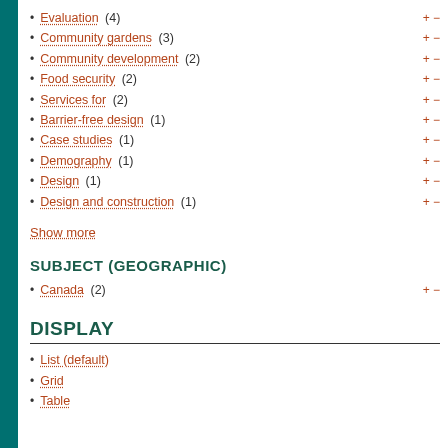Evaluation (4)
Community gardens (3)
Community development (2)
Food security (2)
Services for (2)
Barrier-free design (1)
Case studies (1)
Demography (1)
Design (1)
Design and construction (1)
Show more
SUBJECT (GEOGRAPHIC)
Canada (2)
DISPLAY
List (default)
Grid
Table